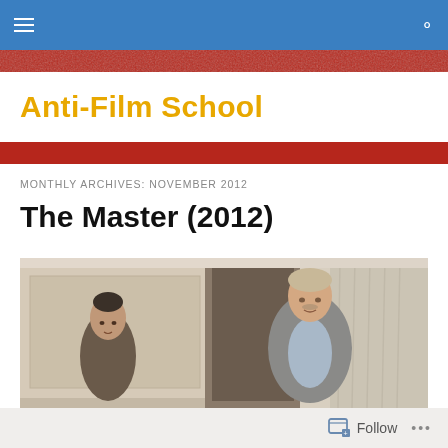Anti-Film School — navigation bar with hamburger menu and search icon
Anti-Film School
MONTHLY ARCHIVES: NOVEMBER 2012
The Master (2012)
[Figure (photo): Movie still from The Master (2012) showing two men in a formal room interior — one man in a grey suit standing in a doorway, another man visible in the background to the left.]
Follow  ...